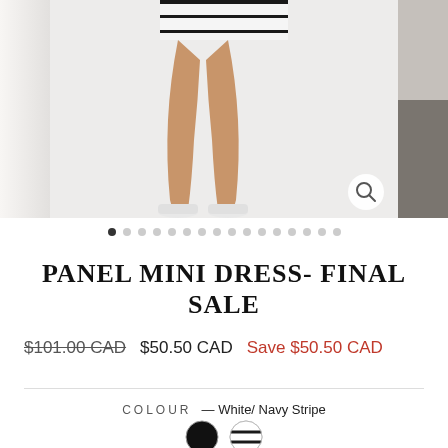[Figure (photo): Product photo of a model wearing a white striped panel mini dress with white sneakers. The center image shows legs and lower body. Left and right edges show partial adjacent product images.]
PANEL MINI DRESS- FINAL SALE
$101.00 CAD  $50.50 CAD  Save $50.50 CAD
COLOUR — White/ Navy Stripe